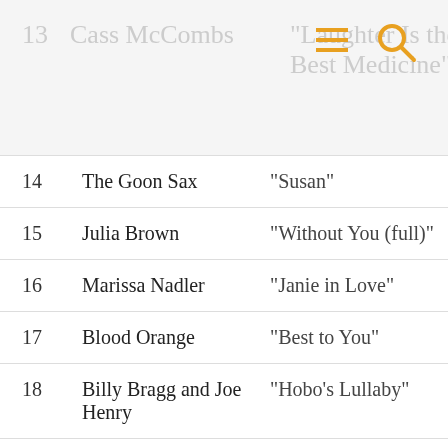| # | Artist | Song |
| --- | --- | --- |
| 13 | Cass McCombs | "Laughter Is the Best Medicine" |
| 14 | The Goon Sax | "Susan" |
| 15 | Julia Brown | "Without You (full)" |
| 16 | Marissa Nadler | "Janie in Love" |
| 17 | Blood Orange | "Best to You" |
| 18 | Billy Bragg and Joe Henry | "Hobo's Lullaby" |
| 19 | C Duncan | "The Midnight Sun" |
| 20 | Bon Iver | "33 “GOD”" |